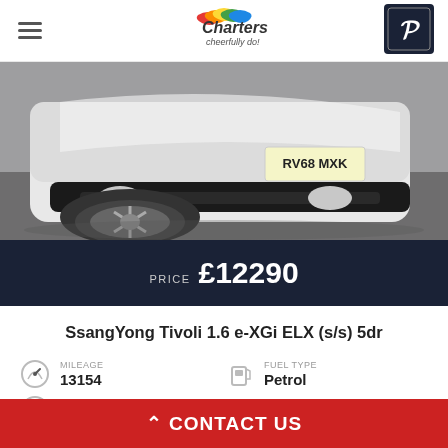Charters cheerfully do! [Peugeot logo]
[Figure (photo): Close-up photo of a white SsangYong Tivoli SUV showing front wheel, bumper and license plate RV68 MXK on a grey tarmac surface]
PRICE £12290
SsangYong Tivoli 1.6 e-XGi ELX (s/s) 5dr
MILEAGE 13154
FUEL TYPE Petrol
ENGINE
TRANSMISSION
CONTACT US